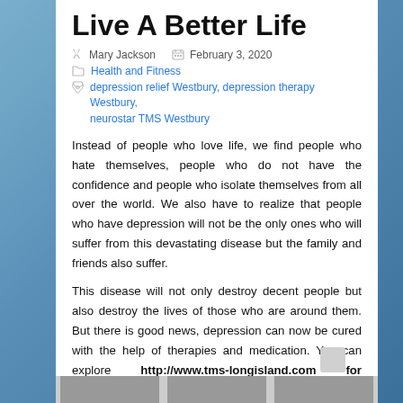Live A Better Life
Mary Jackson   February 3, 2020
Health and Fitness
depression relief Westbury, depression therapy Westbury, neurostar TMS Westbury
Instead of people who love life, we find people who hate themselves, people who do not have the confidence and people who isolate themselves from all over the world. We also have to realize that people who have depression will not be the only ones who will suffer from this devastating disease but the family and friends also suffer.
This disease will not only destroy decent people but also destroy the lives of those who are around them. But there is good news, depression can now be cured with the help of therapies and medication. You can explore http://www.tms-longisland.com for depression therapy in Westbury.